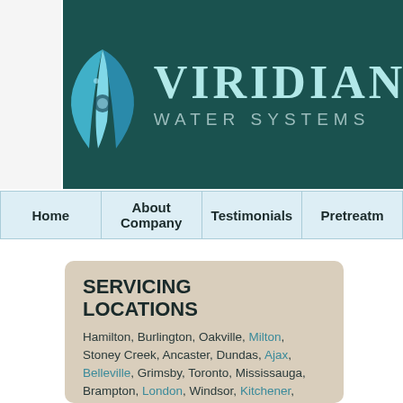[Figure (logo): Viridian Water Systems logo with teal water droplet/leaf icon on dark teal background banner]
Home | About Company | Testimonials | Pretreatm...
SERVICING LOCATIONS
Hamilton, Burlington, Oakville, Milton, Stoney Creek, Ancaster, Dundas, Ajax, Belleville, Grimsby, Toronto, Mississauga, Brampton, London, Windsor, Kitchener, Welland, St. Catharines, Fort Erie, Niagara Falls, Port Colborne, Guelph, Cambridge, Kawartha Lakes, Sarnia, Chatham-Kent,